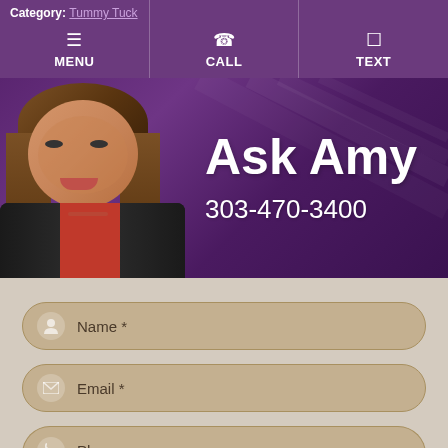Category: Tummy Tuck | MENU | CALL | TEXT
[Figure (photo): Banner with photo of woman (Amy) smiling, wearing black jacket and red top, on purple gradient background. Text reads 'Ask Amy' and phone number '303-470-3400'.]
Ask Amy
303-470-3400
Name *
Email *
Phone
Questions